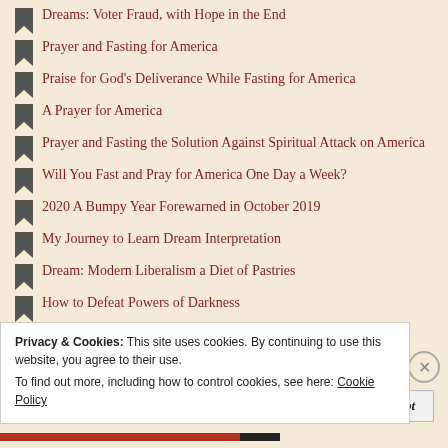Dreams: Voter Fraud, with Hope in the End
Prayer and Fasting for America
Praise for God's Deliverance While Fasting for America
A Prayer for America
Prayer and Fasting the Solution Against Spiritual Attack on America
Will You Fast and Pray for America One Day a Week?
2020 A Bumpy Year Forewarned in October 2019
My Journey to Learn Dream Interpretation
Dream: Modern Liberalism a Diet of Pastries
How to Defeat Powers of Darkness
March 6: The Blessing Before the Storm
Privacy & Cookies: This site uses cookies. By continuing to use this website, you agree to their use.
To find out more, including how to control cookies, see here: Cookie Policy
Close and accept